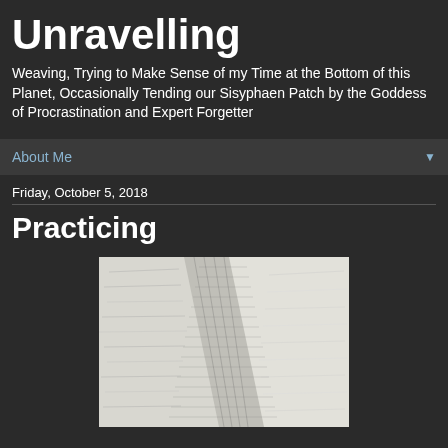Unravelling
Weaving, Trying to Make Sense of my Time at the Bottom of this Planet, Occasionally Tending our Sisyphaen Patch by the Goddess of Procrastination and Expert Forgetter
About Me
Friday, October 5, 2018
Practicing
[Figure (photo): Close-up photo of woven textile fabric showing diagonal weave patterns in light grey/white tones with darker thread details]